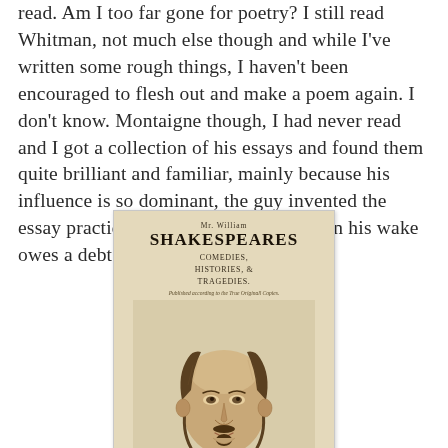read. Am I too far gone for poetry? I still read Whitman, not much else though and while I've written some rough things, I haven't been encouraged to flesh out and make a poem again. I don't know. Montaigne though, I had never read and I got a collection of his essays and found them quite brilliant and familiar, mainly because his influence is so dominant, the guy invented the essay practically, that nearly everyone in his wake owes a debt.
[Figure (illustration): Title page of Mr. William Shakespeares Comedies, Histories, & Tragedies, featuring an engraved portrait of Shakespeare with ruff collar and doublet, in the style of the First Folio (1623).]